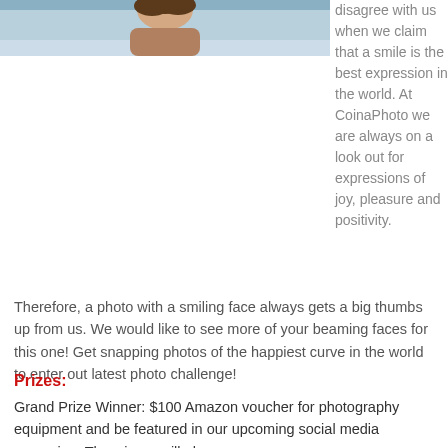[Figure (photo): Partial photo of a person (head/shoulders visible at top), cropped — only the very top portion is visible in this page crop.]
disagree with us when we claim that a smile is the best expression in the world. At CoinaPhoto we are always on a look out for expressions of joy, pleasure and positivity. Therefore, a photo with a smiling face always gets a big thumbs up from us. We would like to see more of your beaming faces for this one! Get snapping photos of the happiest curve in the world to enter out latest photo challenge!
Prizes:
Grand Prize Winner: $100 Amazon voucher for photography equipment and be featured in our upcoming social media campaign. The winner will also